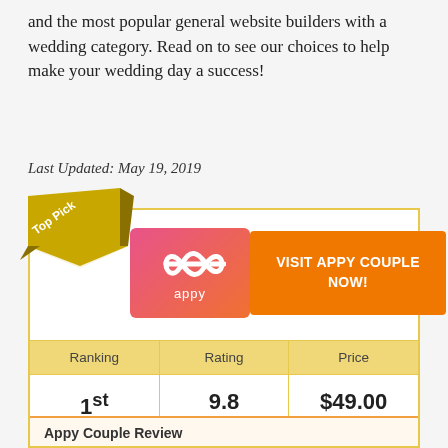and the most popular general website builders with a wedding category. Read on to see our choices to help make your wedding day a success!
Last Updated: May 19, 2019
[Figure (other): Top Pick ribbon banner on product card for Appy Couple]
[Figure (logo): Appy Couple logo — pink-to-orange gradient square with infinity-style icon and 'appy' text]
VISIT APPY COUPLE NOW!
| Ranking | Rating | Price |
| --- | --- | --- |
| 1st | 9.8
out of 10 | $49.00
One Time |
Appy Couple Review